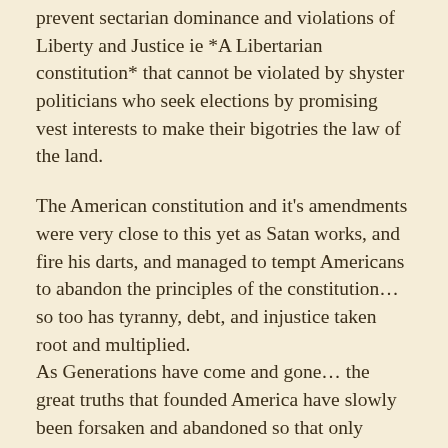prevent sectarian dominance and violations of Liberty and Justice ie *A Libertarian constitution* that cannot be violated by shyster politicians who seek elections by promising vest interests to make their bigotries the law of the land.
The American constitution and it's amendments were very close to this yet as Satan works, and fire his darts, and managed to tempt Americans to abandon the principles of the constitution... so too has tyranny, debt, and injustice taken root and multiplied. As Generations have come and gone... the great truths that founded America have slowly been forsaken and abandoned so that only sheepish ignorance remains.
This is why there need be a new experiment...